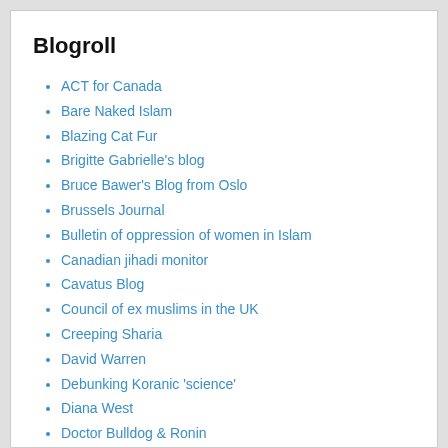Blogroll
ACT for Canada
Bare Naked Islam
Blazing Cat Fur
Brigitte Gabrielle's blog
Bruce Bawer's Blog from Oslo
Brussels Journal
Bulletin of oppression of women in Islam
Canadian jihadi monitor
Cavatus Blog
Council of ex muslims in the UK
Creeping Sharia
David Warren
Debunking Koranic 'science'
Diana West
Doctor Bulldog & Ronin
Enza Ferreri
Europe News